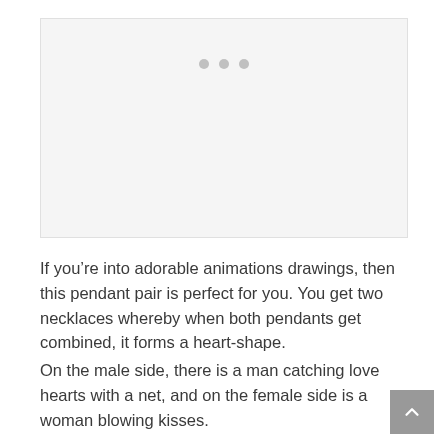[Figure (other): Image placeholder with three gray dots at the top center, representing a loading or empty image area]
If you’re into adorable animations drawings, then this pendant pair is perfect for you. You get two necklaces whereby when both pendants get combined, it forms a heart-shape.
On the male side, there is a man catching love hearts with a net, and on the female side is a woman blowing kisses.